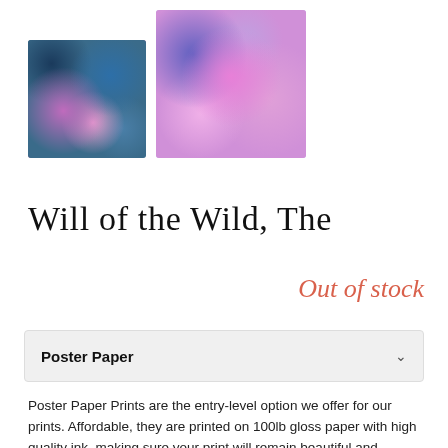[Figure (photo): Two thumbnail images of abstract fluid art prints with pink, blue, and dark tones]
Will of the Wild, The
Out of stock
Poster Paper
Poster Paper Prints are the entry-level option we offer for our prints. Affordable, they are printed on 100lb gloss paper with high quality ink, making sure your print will remain beautiful and vibrant for years!
Please note: Our poster prints do not come framed in order to keep cost as low as possible for you. We strongly encourage you to get in touch with your local framing experts to choose a frame that will fit the color of your print